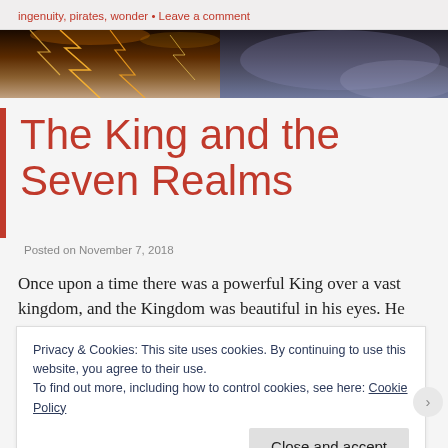ingenuity, pirates, wonder • Leave a comment
[Figure (photo): Dark stormy sky with orange lightning bolts across the top of the page as a hero banner image.]
The King and the Seven Realms
Posted on November 7, 2018
Once upon a time there was a powerful King over a vast kingdom, and the Kingdom was beautiful in his eyes. He
Privacy & Cookies: This site uses cookies. By continuing to use this website, you agree to their use.
To find out more, including how to control cookies, see here: Cookie Policy